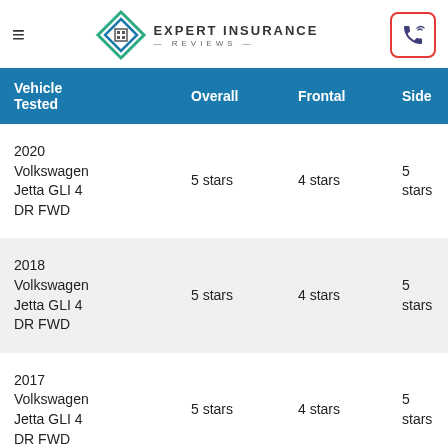Expert Insurance Reviews
| Vehicle Tested | Overall | Frontal | Side | R |
| --- | --- | --- | --- | --- |
| 2020 Volkswagen Jetta GLI 4 DR FWD | 5 stars | 4 stars | 5 stars | 4 |
| 2018 Volkswagen Jetta GLI 4 DR FWD | 5 stars | 4 stars | 5 stars | 4 |
| 2017 Volkswagen Jetta GLI 4 DR FWD | 5 stars | 4 stars | 5 stars | 4 |